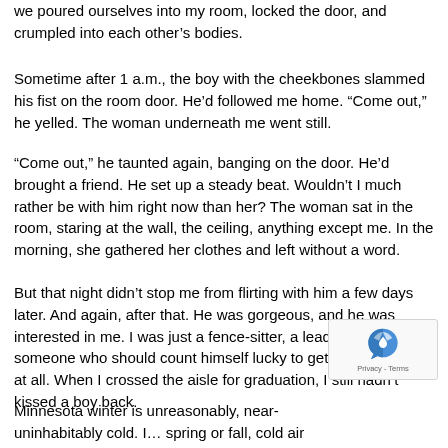we poured ourselves into my room, locked the door, and crumpled into each other’s bodies.
Sometime after 1 a.m., the boy with the cheekbones slammed his fist on the room door. He’d followed me home. “Come out,” he yelled. The woman underneath me went still.
“Come out,” he taunted again, banging on the door. He’d brought a friend. He set up a steady beat. Wouldn’t I much rather be with him right now than her? The woman sat in the room, staring at the wall, the ceiling, anything except me. In the morning, she gathered her clothes and left without a word.
But that night didn’t stop me from flirting with him a few days later. And again, after that. He was gorgeous, and he was interested in me. I was just a fence-sitter, a leader-on, someone who should count himself lucky to get any attention at all. When I crossed the aisle for graduation, I still hadn’t kissed a boy back.
Minnesota winter is unreasonably, near-uninhabitably cold. I… spring or fall, cold air pries the windows from peeling paint. By